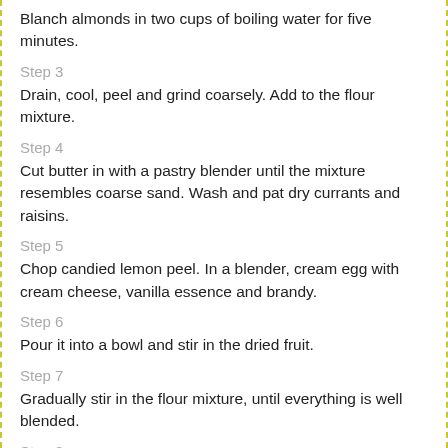Blanch almonds in two cups of boiling water for five minutes.
Step 3
Drain, cool, peel and grind coarsely. Add to the flour mixture.
Step 4
Cut butter in with a pastry blender until the mixture resembles coarse sand. Wash and pat dry currants and raisins.
Step 5
Chop candied lemon peel. In a blender, cream egg with cream cheese, vanilla essence and brandy.
Step 6
Pour it into a bowl and stir in the dried fruit.
Step 7
Gradually stir in the flour mixture, until everything is well blended.
Step 8
Work the dough into a ball and turn it out on a lightly floured board.
Step 9